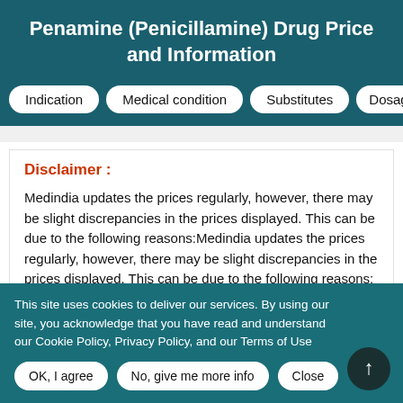Penamine (Penicillamine) Drug Price and Information
Indication
Medical condition
Substitutes
Dosage
Disclaimer :
Medindia updates the prices regularly, however, there may be slight discrepancies in the prices displayed. This can be due to the following reasons:Medindia updates the prices regularly, however, there may be slight discrepancies in the prices displayed. This can be due to the following reasons:
This site uses cookies to deliver our services. By using our site, you acknowledge that you have read and understand our Cookie Policy, Privacy Policy, and our Terms of Use
OK, I agree
No, give me more info
Close